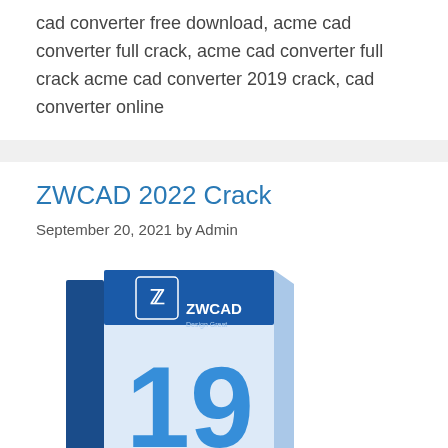cad converter free download, acme cad converter full crack, acme cad converter full crack acme cad converter 2019 crack, cad converter online
ZWCAD 2022 Crack
September 20, 2021 by Admin
[Figure (photo): ZWCAD product box showing ZWCAD Design Great branding with a large blue '19' number on the front]